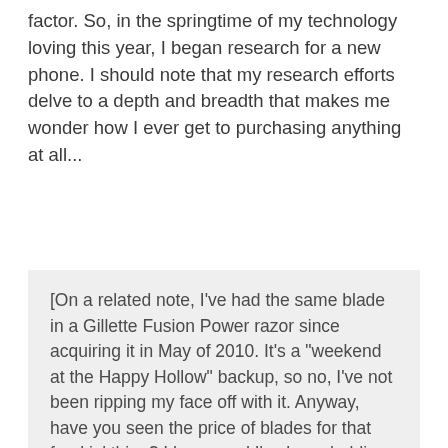factor. So, in the springtime of my technology loving this year, I began research for a new phone. I should note that my research efforts delve to a depth and breadth that makes me wonder how I ever get to purchasing anything at all...
[On a related note, I've had the same blade in a Gillette Fusion Power razor since acquiring it in May of 2010. It's a "weekend at the Happy Hollow" backup, so no, I've not been ripping my face off with it. Anyway, have you seen the price of blades for that freakin' thing? I have, and I've been holding out, researching for a price somewhere South of the 4/$16.29 at CVS... That's $4.0725 each for those of you not doing math in your head right now... So yesterday, the lovely Joyce and I am at an Estate Sale and I see a grungy, used model...